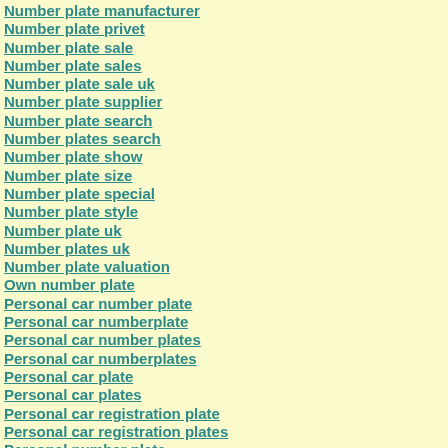Number plate manufacturer
Number plate privet
Number plate sale
Number plate sales
Number plate sale uk
Number plate supplier
Number plate search
Number plates search
Number plate show
Number plate size
Number plate special
Number plate style
Number plate uk
Number plates uk
Number plate valuation
Own number plate
Personal car number plate
Personal car numberplate
Personal car number plates
Personal car numberplates
Personal car plate
Personal car plates
Personal car registration plate
Personal car registration plates
Personal number plate
Personal numberplate
Personel number plate
Personell number plate
Personal number plate uk
Personal number plates
Personal numberplates